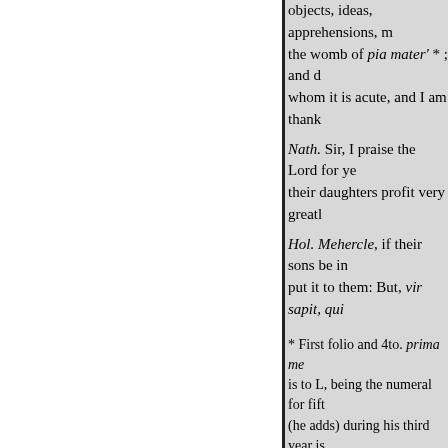objects, ideas, apprehensions, m... the womb of pia mater' * ; and d... whom it is acute, and I am thank...
Nath. Sir, I praise the Lord for ye... their daughters profit very greatl...
Hol. Mehercle, if their sons be in... put it to them: But, vir sapit, qui...
* First folio and 4to. prima me... is to L, being the numeral for fift... (he adds) during his third year is...
STEEVENS. ? If a talent be a... talent. Hence the quibble here, a... First Part of the Contention betw...
Are
    you
        the kite, Beaufort ? wh...
talents?" Again, in Marlowe's T...
and now doth ghastly de...
" With greedy tallents gripe...